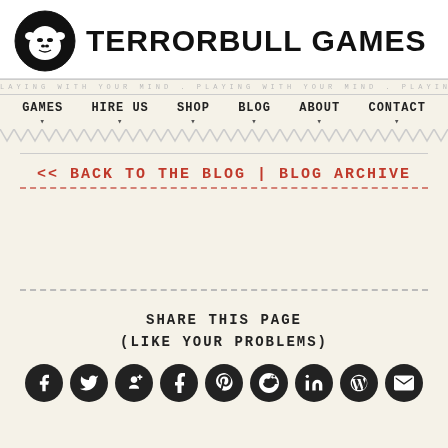[Figure (logo): TerrorBull Games logo — black bull head in circle with brand name in bold sans-serif]
PLAYING WITH YOUR MIND . PLAYING WITH YOUR MIND . PLAYING WITH YOUR MIND . PLAYING WITH YOUR MIND . PLAYING WITH YOU
GAMES   HIRE US   SHOP   BLOG   ABOUT   CONTACT
<< BACK TO THE BLOG | BLOG ARCHIVE
SHARE THIS PAGE
(LIKE YOUR PROBLEMS)
[Figure (infographic): Row of 9 circular social media icons: Facebook, Twitter, Google+, Tumblr, Pinterest, Reddit, LinkedIn, WordPress, Email]